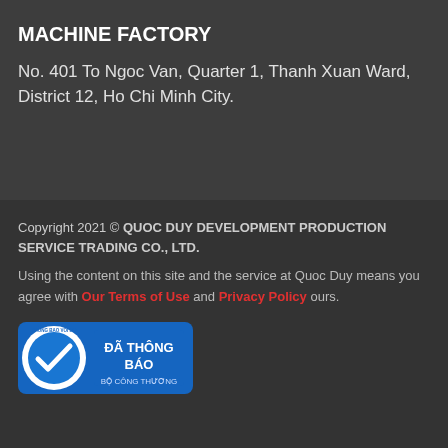MACHINE FACTORY
No. 401 To Ngoc Van, Quarter 1, Thanh Xuan Ward, District 12, Ho Chi Minh City.
Copyright 2021 © QUOC DUY DEVELOPMENT PRODUCTION SERVICE TRADING CO., LTD.
Using the content on this site and the service at Quoc Duy means you agree with Our Terms of Use and Privacy Policy ours.
[Figure (logo): Vietnamese Ministry of Industry and Trade notification badge - blue circular seal with checkmark, text 'ĐÃ THÔNG BÁO BỘ CÔNG THƯƠNG']